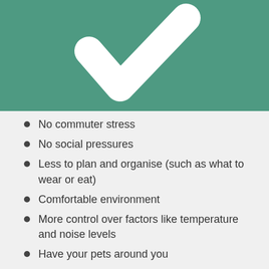[Figure (illustration): Teal/green banner with a large white checkmark symbol centered on it]
No commuter stress
No social pressures
Less to plan and organise (such as what to wear or eat)
Comfortable environment
More control over factors like temperature and noise levels
Have your pets around you
Spend breaks doing things you enjoy at home
More time for exercise